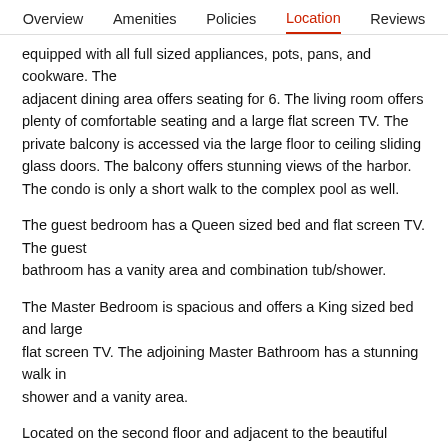Overview   Amenities   Policies   Location   Reviews
equipped with all full sized appliances, pots, pans, and cookware. The adjacent dining area offers seating for 6. The living room offers plenty of comfortable seating and a large flat screen TV. The private balcony is accessed via the large floor to ceiling sliding glass doors. The balcony offers stunning views of the harbor. The condo is only a short walk to the complex pool as well.
The guest bedroom has a Queen sized bed and flat screen TV. The guest bathroom has a vanity area and combination tub/shower.
The Master Bedroom is spacious and offers a King sized bed and large flat screen TV. The adjoining Master Bathroom has a stunning walk in shower and a vanity area.
Located on the second floor and adjacent to the beautiful Destin Harbor, this condo will be the perfect spot for your next vacation. This condo has had recent renovations and upgrades and will not be